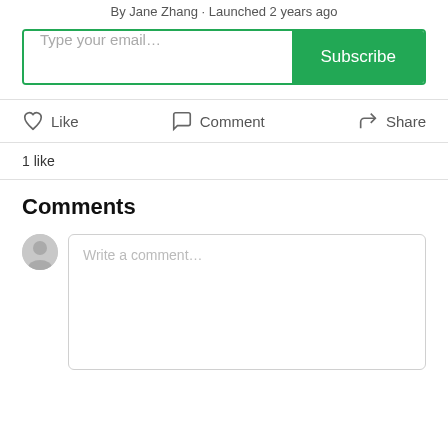By Jane Zhang · Launched 2 years ago
Type your email... Subscribe
Like   Comment   Share
1 like
Comments
Write a comment...